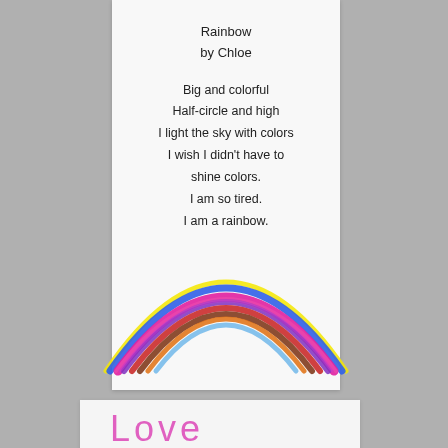Rainbow
by Chloe
Big and colorful
Half-circle and high
I light the sky with colors
I wish I didn't have to
shine colors.
I am so tired.
I am a rainbow.
[Figure (illustration): Child's crayon drawing of a rainbow with arcs in blue, pink/magenta, purple, red, brown, orange, and yellow on a white background.]
Love